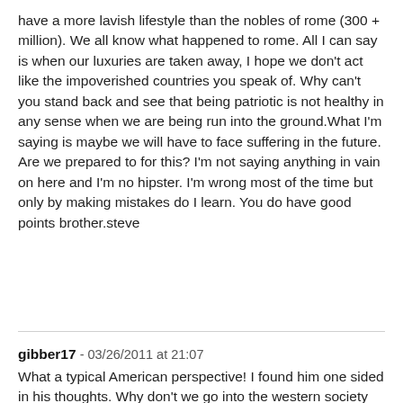have a more lavish lifestyle than the nobles of rome (300 + million). We all know what happened to rome. All I can say is when our luxuries are taken away, I hope we don't act like the impoverished countries you speak of. Why can't you stand back and see that being patriotic is not healthy in any sense when we are being run into the ground.What I'm saying is maybe we will have to face suffering in the future. Are we prepared to for this? I'm not saying anything in vain on here and I'm no hipster. I'm wrong most of the time but only by making mistakes do I learn. You do have good points brother.steve
gibber17 - 03/26/2011 at 21:07
What a typical American perspective! I found him one sided in his thoughts. Why don't we go into the western society and see how wasteful we are and how we go